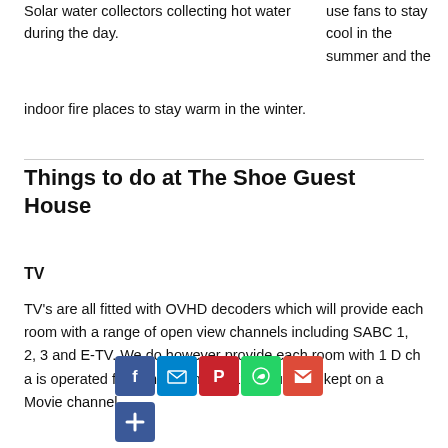Solar water collectors collecting hot water during the day.
use fans to stay cool in the summer and the indoor fire places to stay warm in the winter.
Things to do at The Shoe Guest House
TV
TV's are all fitted with OVHD decoders which will provide each room with a range of open view channels including SABC 1, 2, 3 and E-TV. We do however provide each room with 1 D[stb]ch a[nd] is operated from the Main House and is usually kept on a Movie channel.